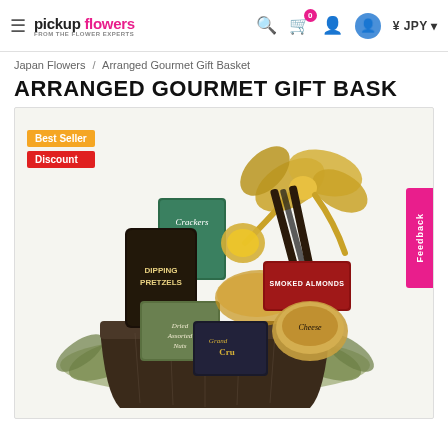pickup flowers FROM THE FLOWER EXPERTS — Search | Cart (0) | Account | Avatar | ¥ JPY
Japan Flowers / Arranged Gourmet Gift Basket
ARRANGED GOURMET GIFT BASK
[Figure (photo): A gourmet gift basket containing dipping pretzels, dried assorted nuts, smoked almonds, cheese, Grand Cru wine, and crackers, decorated with gold/olive ribbon bows, arranged in a dark rectangular basket. Badges: Best Seller, Discount.]